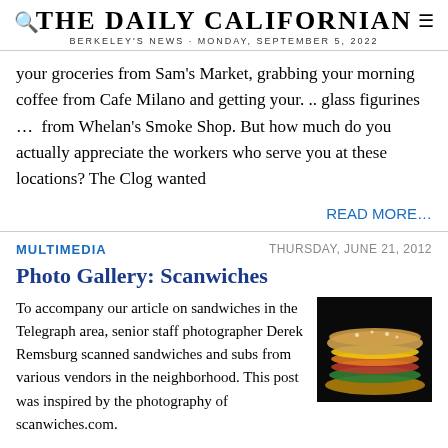THE DAILY CALIFORNIAN
BERKELEY'S NEWS · MONDAY, SEPTEMBER 5, 2022
your groceries from Sam's Market, grabbing your morning coffee from Cafe Milano and getting your. .. glass figurines …  from Whelan's Smoke Shop. But how much do you actually appreciate the workers who serve you at these locations? The Clog wanted
READ MORE…
MULTIMEDIA
THURSDAY, JUNE 21, 2012
Photo Gallery: Scanwiches
[Figure (photo): Photo of a scanned sandwich/sub on dark background showing bread, vegetables, and fillings]
To accompany our article on sandwiches in the Telegraph area, senior staff photographer Derek Remsburg scanned sandwiches and subs from various vendors in the neighborhood. This post was inspired by the photography of scanwiches.com.